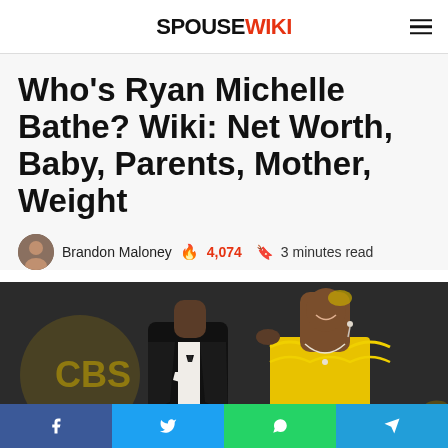SPOUSE WIKI
Who's Ryan Michelle Bathe? Wiki: Net Worth, Baby, Parents, Mother, Weight
Brandon Maloney 🔥 4,074 🔖 3 minutes read
[Figure (photo): A couple at a formal event, man in tuxedo and woman in yellow dress with diamond necklace, CBS logo visible in background]
f  t  WhatsApp  Telegram (social share bar)